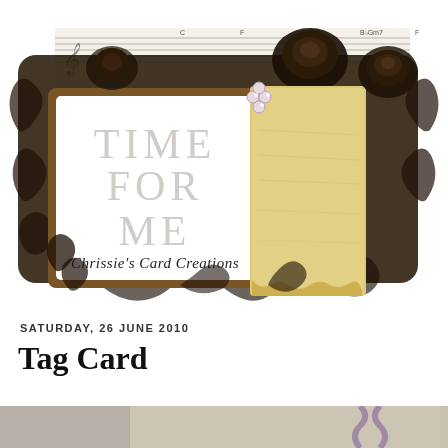[Figure (illustration): Decorative blog header banner with floral scrollwork, roses, sheet music background, and vintage inner card showing 'TIME FOR ME / Chrissie's Card Creations' with a parchment panel and gem embellishments]
SATURDAY, 26 JUNE 2010
Tag Card
[Figure (photo): Partial photo of a handmade tag card, cropped at bottom of page]